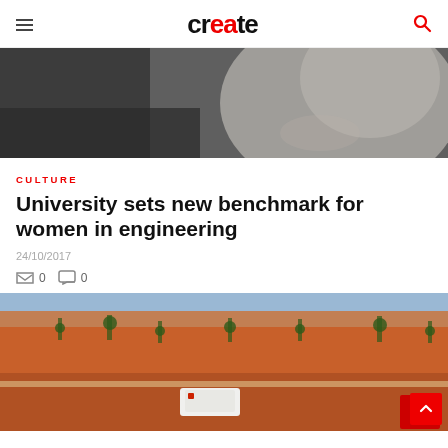create
[Figure (photo): Woman with brown hair in a blue shirt, smiling and resting her chin on her hand, with a dark chalkboard background]
CULTURE
University sets new benchmark for women in engineering
24/10/2017
0  0
[Figure (photo): Aerial view of a white SUV driving on a road through red outback desert terrain with sparse trees and red soil landscape]